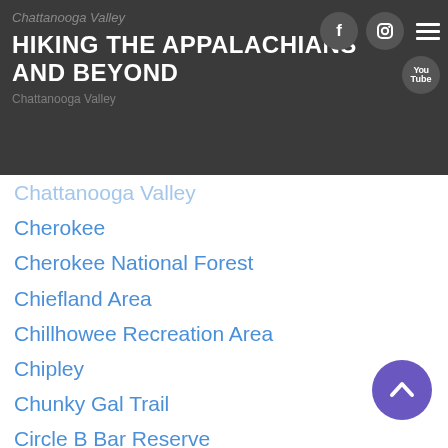HIKING THE APPALACHIANS AND BEYOND
Chattanooga Valley
Cherokee
Cherokee National Forest
Chiefland Area
Chillhowee Recreation Area
Chipley
Chunky Gal Trail
Circle B Bar Reserve
Citico Creek Wilderness
Citrus Wildlife Management Area
Clarkesville
Clayton
Cleevland
Cleveland
Cloudland Canyon State Park
Cohutta Wilderness